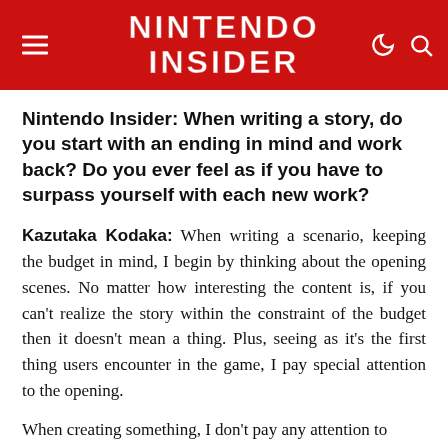NINTENDO INSIDER
Nintendo Insider: When writing a story, do you start with an ending in mind and work back? Do you ever feel as if you have to surpass yourself with each new work?
Kazutaka Kodaka: When writing a scenario, keeping the budget in mind, I begin by thinking about the opening scenes. No matter how interesting the content is, if you can't realize the story within the constraint of the budget then it doesn't mean a thing. Plus, seeing as it's the first thing users encounter in the game, I pay special attention to the opening.
When creating something, I don't pay any attention to